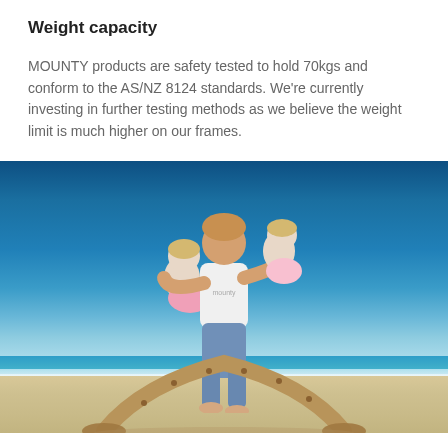Weight capacity
MOUNTY products are safety tested to hold 70kgs and conform to the AS/NZ 8124 standards. We're currently investing in further testing methods as we believe the weight limit is much higher on our frames.
[Figure (photo): A man holding two young children, one on each arm, standing on a wooden arch/balance frame on a beach with blue sky and ocean in the background. The man is wearing a white Mounty branded t-shirt and jeans.]